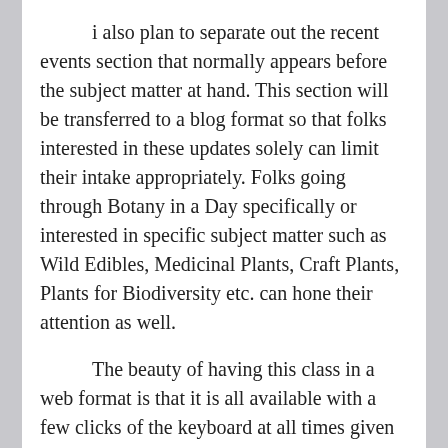i also plan to separate out the recent events section that normally appears before the subject matter at hand. This section will be transferred to a blog format so that folks interested in these updates solely can limit their intake appropriately. Folks going through Botany in a Day specifically or interested in specific subject matter such as Wild Edibles, Medicinal Plants, Craft Plants, Plants for Biodiversity etc. can hone their attention as well.
The beauty of having this class in a web format is that it is all available with a few clicks of the keyboard at all times given an internet connection. My hope is that some people will continue to check out this year's classes that they missed once things calm down post holidays. If you have comments on specific past classes please send them to me via email and i will add them to the appropriate comment stream. This circumvents my need to check each class to look for new